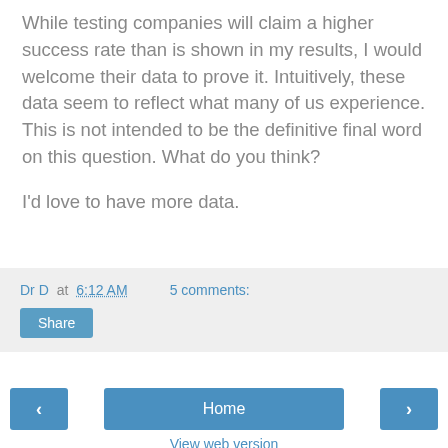While testing companies will claim a higher success rate than is shown in my results, I would welcome their data to prove it. Intuitively, these data seem to reflect what many of us experience. This is not intended to be the definitive final word on this question. What do you think?
I'd love to have more data.
Dr D at 6:12 AM    5 comments:
Share
‹
Home
›
View web version
Powered by Blogger.